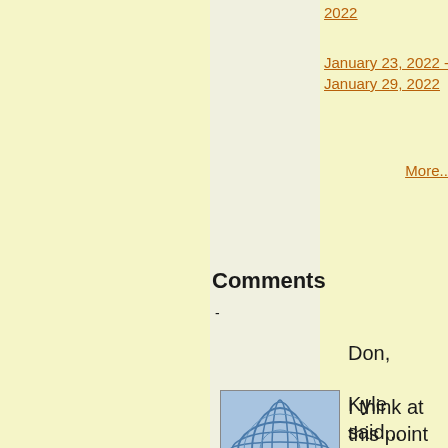2022
January 23, 2022 - January 29, 2022
More...
Comments
-
[Figure (illustration): Blue decorative avatar icon with overlapping oval lines on a light blue background]
Kyle said...
Don,

I think at this point for any individual to say that global warming not